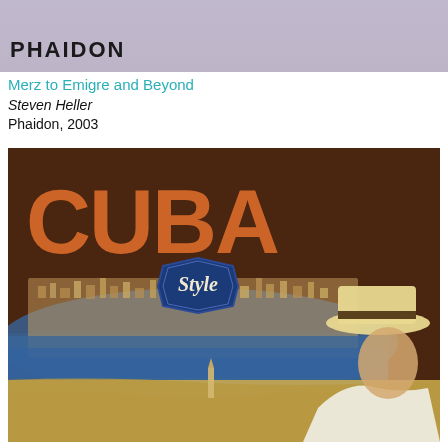[Figure (photo): Top portion of a book cover showing 'PHAIDON' publisher text on a purple/grey background]
Merz to Emigre and Beyond
Steven Heller
Phaidon, 2003
[Figure (photo): Book cover of 'Cuba Style' showing large orange CUBA lettering, a 'Style' badge/emblem in blue, a vintage travel poster style illustration with a coastal city scene, blue water, and a man wearing a straw boater hat in the foreground right]